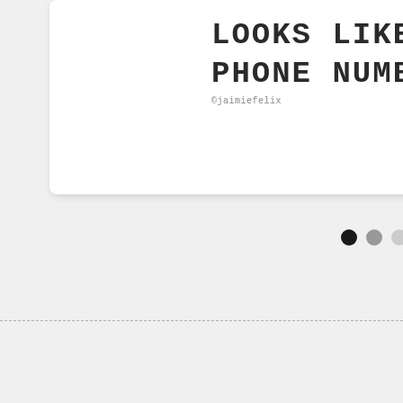[Figure (other): White card with large bold monospace text reading 'LOOKS LIKE A PHONE NUMBER' and attribution '@jaimiefelix' below, displayed on a light gray background]
©jaimiefelix